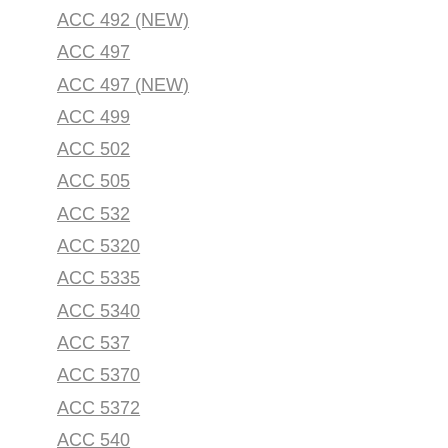ACC 492 (NEW)
ACC 497
ACC 497 (NEW)
ACC 499
ACC 502
ACC 505
ACC 532
ACC 5320
ACC 5335
ACC 5340
ACC 537
ACC 5370
ACC 5372
ACC 540
ACC 541
ACC 541 (NEW)
ACC 542
ACC 543
ACC 544